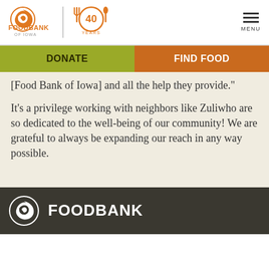[Figure (logo): Food Bank of Iowa logo with orange swirl icon and text, plus 40 Years anniversary badge with fork and spoon]
[Figure (logo): Menu hamburger icon with MENU label]
DONATE
FIND FOOD
[Food Bank of Iowa] and all the help they provide."
It's a privilege working with neighbors like Zuliwho are so dedicated to the well-being of our community! We are grateful to always be expanding our reach in any way possible.
[Figure (logo): Food Bank of Iowa white logo icon and FOODBANK wordmark on dark background]